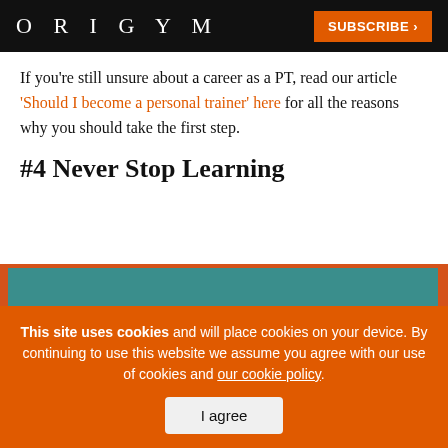ORIGYM | SUBSCRIBE >
If you’re still unsure about a career as a PT, read our article ‘Should I become a personal trainer’ here for all the reasons why you should take the first step.
#4 Never Stop Learning
[Figure (illustration): Illustration of a person (head and shoulders) against a teal/green background with an orange border, partially visible]
This site uses cookies and will place cookies on your device. By continuing to use this website we assume you agree with our use of cookies and our cookie policy.